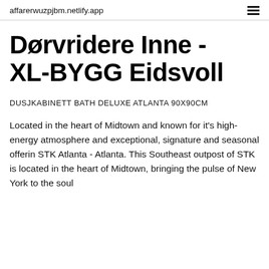affarerwuzpjbm.netlify.app
Dørvridere Inne - XL-BYGG Eidsvoll
DUSJKABINETT BATH DELUXE ATLANTA 90X90CM
Located in the heart of Midtown and known for it's high-energy atmosphere and exceptional, signature and seasonal offerin STK Atlanta - Atlanta. This Southeast outpost of STK is located in the heart of Midtown, bringing the pulse of New York to the soul